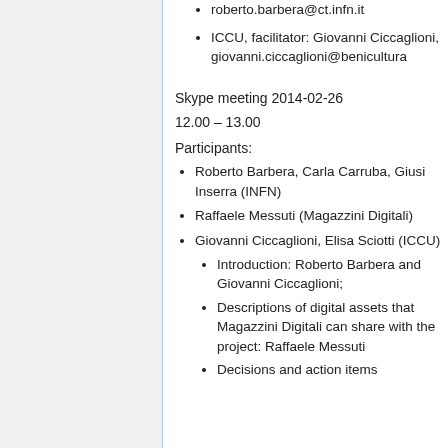ICCU, facilitator: Giovanni Ciccaglioni, giovanni.ciccaglioni@benicultura
Skype meeting 2014-02-26
12.00 – 13.00
Participants:
Roberto Barbera, Carla Carruba, Giusi Inserra (INFN)
Raffaele Messuti (Magazzini Digitali)
Giovanni Ciccaglioni, Elisa Sciotti (ICCU)
Introduction: Roberto Barbera and Giovanni Ciccaglioni;
Descriptions of digital assets that Magazzini Digitali can share with the project: Raffaele Messuti
Decisions and action items